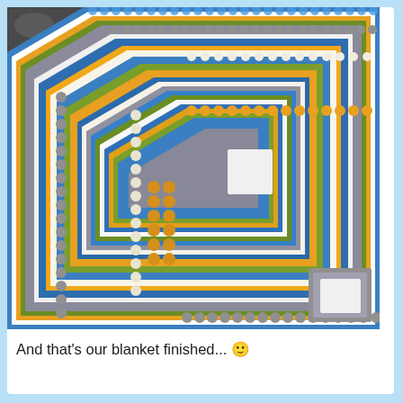[Figure (photo): Close-up overhead photograph of a colorful crocheted blanket corner laid on dark pebbles/rocks. The blanket features multiple concentric border rounds in blue, orange/yellow, olive green, white, and gray colors with various crochet stitch textures including bobble stitches, shell stitches, and open-work patterns.]
And that's our blanket finished... 🙂